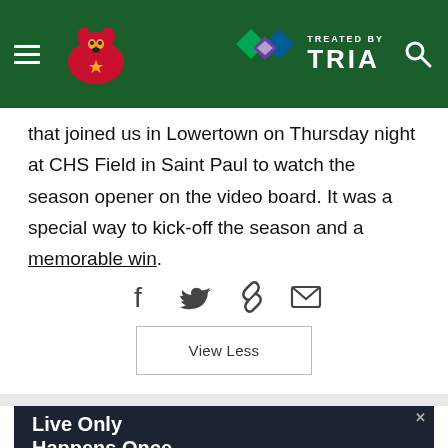Minnesota Wild website header with logo and TREATED BY TRIA branding
that joined us in Lowertown on Thursday night at CHS Field in Saint Paul to watch the season opener on the video board. It was a special way to kick-off the season and a memorable win.
[Figure (infographic): Social share icons: Facebook, Twitter, link, email]
View Less
[Figure (infographic): Advertisement banner with dark background and bold white text reading 'Live Only Happens Once.']